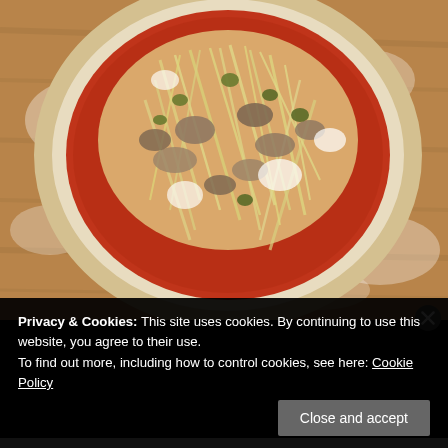[Figure (photo): Top-down view of an uncooked pizza dough round on a flour-dusted wooden board, topped with red tomato sauce, shredded mozzarella cheese, mushrooms, and green olives]
Privacy & Cookies: This site uses cookies. By continuing to use this website, you agree to their use.
To find out more, including how to control cookies, see here: Cookie Policy
Close and accept